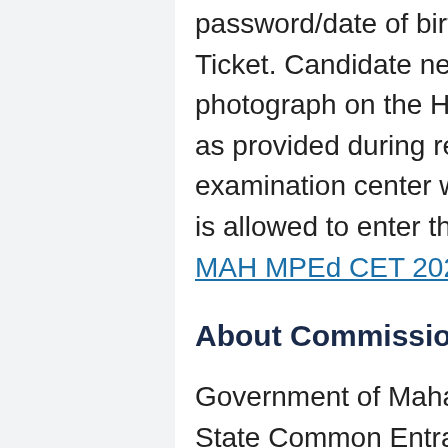password/date of birth for downloading the Hall Ticket. Candidate needs to affix recent recognizable photograph on the Hall Ticket preferably the same as provided during registration and appear at the examination center with Admit Card. No candidate is allowed to enter the examination hall without valid MAH MPEd CET 2021 Admit Card,
About Commissioner State CET Cell
Government of Maharashtra has established a State Common Entrance Test Cell (CET CELL) under Admission Regulating